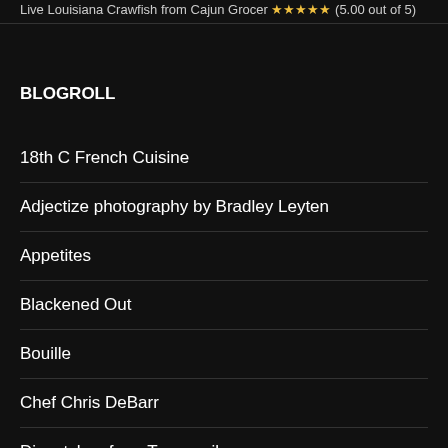Live Louisiana Crawfish from Cajun Grocer ★★★★★ (5.00 out of 5)
BLOGROLL
18th C French Cuisine
Adjectize photography by Bradley Leyten
Appetites
Blackened Out
Bouille
Chef Chris DeBarr
Dispatches from Tanganyika
Do You Know What It Means To Miss New Orleans?